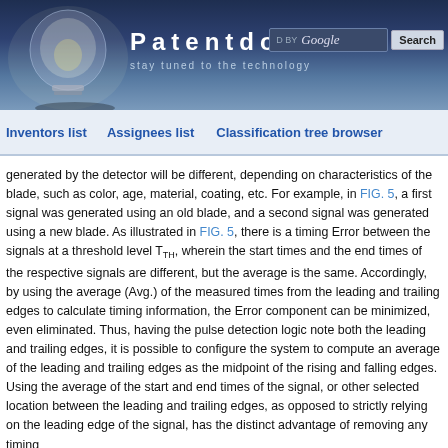Patentdocs — stay tuned to the technology
Inventors list    Assignees list    Classification tree browser
generated by the detector will be different, depending on characteristics of the blade, such as color, age, material, coating, etc. For example, in FIG. 5, a first signal was generated using an old blade, and a second signal was generated using a new blade. As illustrated in FIG. 5, there is a timing Error between the signals at a threshold level T_TH, wherein the start times and the end times of the respective signals are different, but the average is the same. Accordingly, by using the average (Avg.) of the measured times from the leading and trailing edges to calculate timing information, the Error component can be minimized, even eliminated. Thus, having the pulse detection logic note both the leading and trailing edges, it is possible to configure the system to compute an average of the leading and trailing edges as the midpoint of the rising and falling edges. Using the average of the start and end times of the signal, or other selected location between the leading and trailing edges, as opposed to strictly relying on the leading edge of the signal, has the distinct advantage of removing any timing